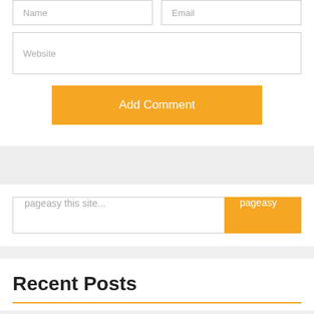Name
Email
Website
Add Comment
pageasy this site...
pageasy
Recent Posts